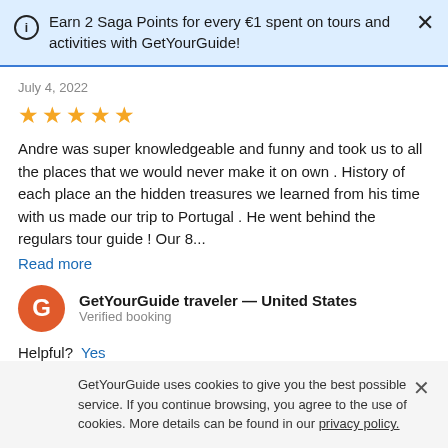Earn 2 Saga Points for every €1 spent on tours and activities with GetYourGuide!
July 4, 2022
[Figure (other): 5 yellow star rating icons]
Andre was super knowledgeable and funny and took us to all the places that we would never make it on own . History of each place an the hidden treasures we learned from his time with us made our trip to Portugal . He went behind the regulars tour guide ! Our 8...
Read more
GetYourGuide traveler — United States
Verified booking
Helpful?  Yes
GetYourGuide uses cookies to give you the best possible service. If you continue browsing, you agree to the use of cookies. More details can be found in our privacy policy.